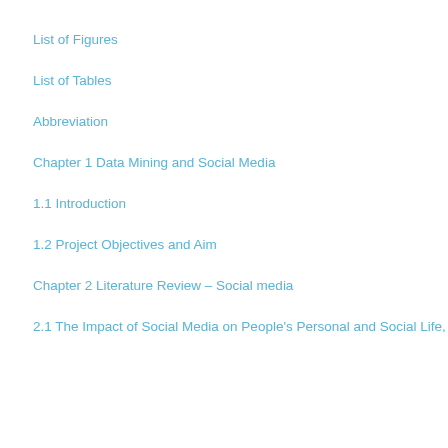List of Figures
List of Tables
Abbreviation
Chapter 1 Data Mining and Social Media
1.1 Introduction
1.2 Project Objectives and Aim
Chapter 2 Literature Review – Social media
2.1 The Impact of Social Media on People's Personal and Social Life,